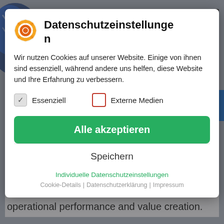[Figure (screenshot): Background webpage with blue logo, hamburger menu, blue arrow button, and partial text about COO organisation]
Datenschutzeinstellungen
Wir nutzen Cookies auf unserer Website. Einige von ihnen sind essenziell, während andere uns helfen, diese Website und Ihre Erfahrung zu verbessern.
Essenziell (checked)
Externe Medien (unchecked)
Alle akzeptieren
Speichern
Individuelle Datenschutzeinstellungen
Cookie-Details | Datenschutzerklärung | Impressum
role of the COO organisation is to drive consistent long term safe and efficient operational performance and value creation.